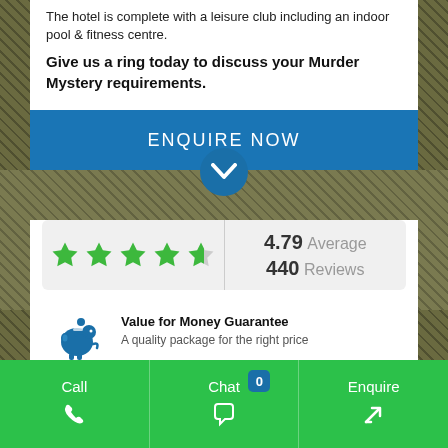The hotel is complete with a leisure club including an indoor pool & fitness centre.
Give us a ring today to discuss your Murder Mystery requirements.
ENQUIRE NOW
[Figure (infographic): Rating widget showing 4.79 average from 440 reviews with 4.5 green stars]
4.79 Average 440 Reviews
[Figure (infographic): Blue piggy bank icon for Value for Money Guarantee]
Value for Money Guarantee
A quality package for the right price
[Figure (infographic): Blue shield icon for Full Booking Protection]
Full Booking Protection
Call  Chat  0  Enquire